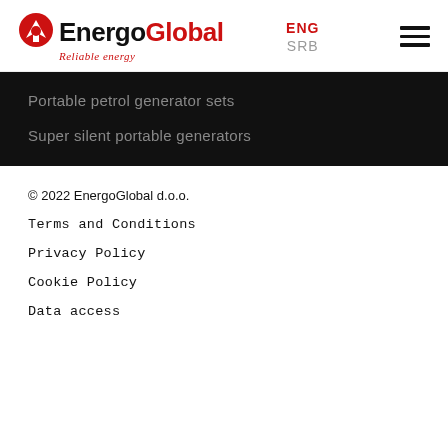[Figure (logo): EnergoGlobal logo with red arrow/globe icon and red text 'EnergoGlobal' with tagline 'Reliable energy' in italic red]
ENG
SRB
Portable petrol generator sets
Super silent portable generators
© 2022 EnergoGlobal d.o.o.
Terms and Conditions
Privacy Policy
Cookie Policy
Data access